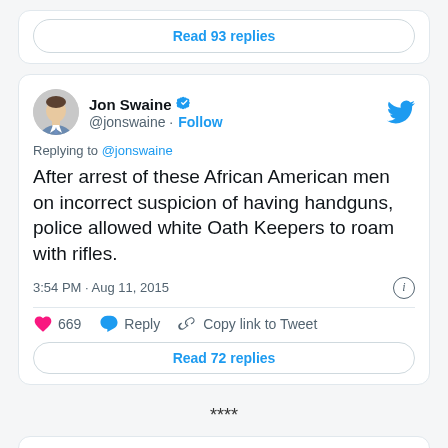Read 93 replies
Jon Swaine @jonswaine · Follow
Replying to @jonswaine
After arrest of these African American men on incorrect suspicion of having handguns, police allowed white Oath Keepers to roam with rifles.
3:54 PM · Aug 11, 2015
669  Reply  Copy link to Tweet
Read 72 replies
****